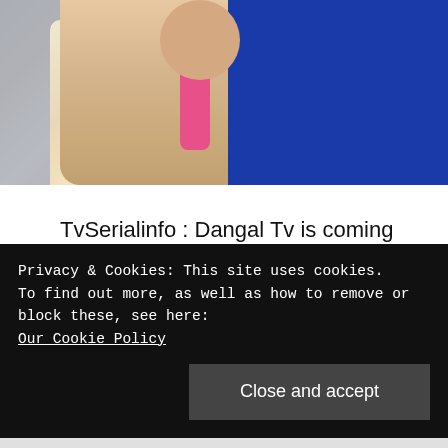[Figure (photo): Partial photo of a woman wearing a floral saree/suit and blue outfit with gold necklace, face cut off at top. Blurred background.]
TvSerialinfo : Dangal Tv is coming back with the season 2 of Phir Laut Aayi Naagin 2.  The upcoming new serial PLAN 2 is Produced by Swastik Production’s Triangle Films. Dangal Tv is also going to launch a Mythological serial Devi. Devi serial also Produced by the same production house – Swastik Productions. Phir Laut Aayi ... Read more
Privacy & Cookies: This site uses cookies.
To find out more, as well as how to remove or block these, see here:
Our Cookie Policy
Close and accept